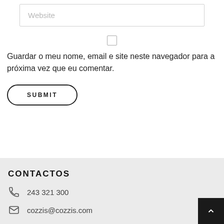Website
Guardar o meu nome, email e site neste navegador para a próxima vez que eu comentar.
SUBMIT
CONTACTOS
243 321 300
cozzis@cozzis.com